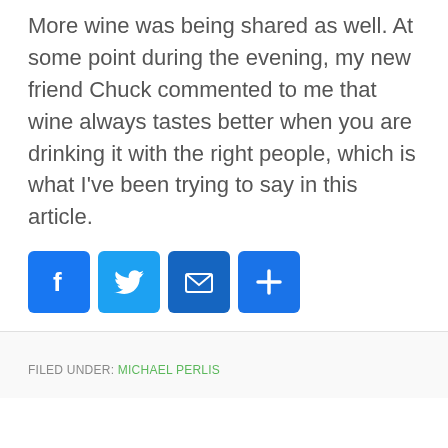More wine was being shared as well. At some point during the evening, my new friend Chuck commented to me that wine always tastes better when you are drinking it with the right people, which is what I've been trying to say in this article.
[Figure (other): Four social sharing buttons: Facebook (blue, f icon), Twitter (blue, bird icon), Email (blue, envelope icon), Share/More (blue, plus icon)]
FILED UNDER: MICHAEL PERLIS